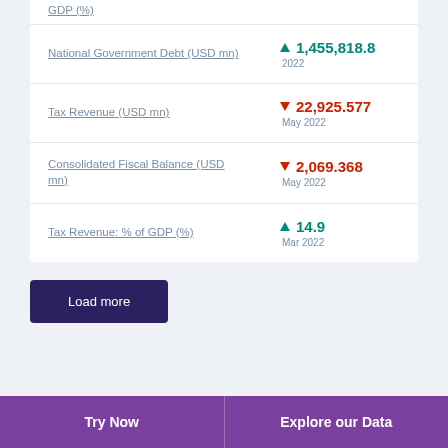GDP (%)
National Government Debt (USD mn)
Tax Revenue (USD mn)
Consolidated Fiscal Balance (USD mn)
Tax Revenue: % of GDP (%)
Load more
Try Now | Explore our Data